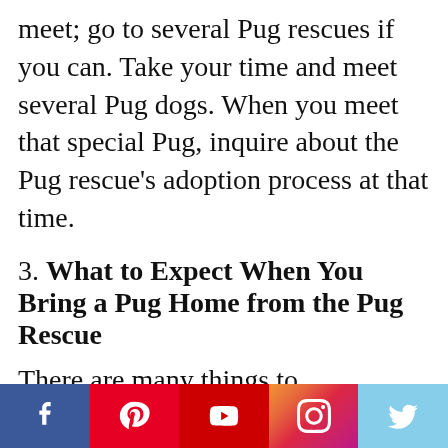meet; go to several Pug rescues if you can. Take your time and meet several Pug dogs. When you meet that special Pug, inquire about the Pug rescue's adoption process at that time.
3. What to Expect When You Bring a Pug Home from the Pug Rescue
There are many things to
Facebook Pinterest YouTube Instagram Twitter